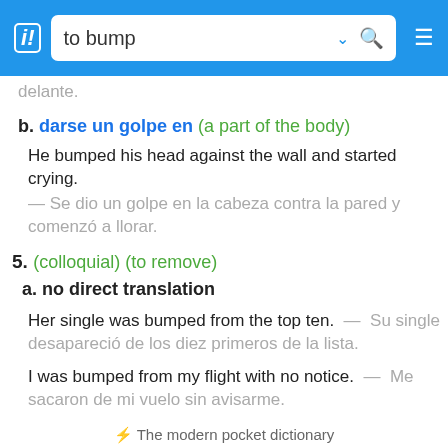to bump
delante.
b. darse un golpe en (a part of the body)
He bumped his head against the wall and started crying. — Se dio un golpe en la cabeza contra la pared y comenzó a llorar.
5. (colloquial) (to remove)
a. no direct translation
Her single was bumped from the top ten. — Su single desapareció de los diez primeros de la lista.
I was bumped from my flight with no notice. — Me sacaron de mi vuelo sin avisarme.
⚡ The modern pocket dictionary